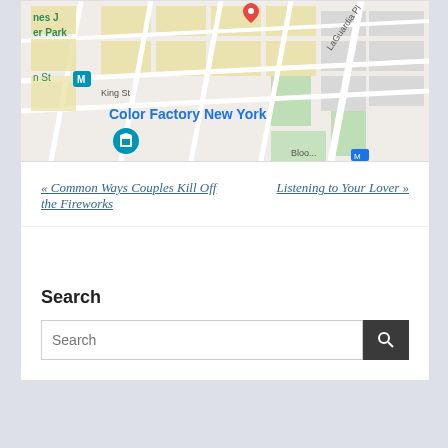[Figure (map): Google Maps screenshot showing Color Factory New York location with street grid, King St, LaGuardia Pl, metro station markers]
« Common Ways Couples Kill Off the Fireworks
Listening to Your Lover »
Search
Search